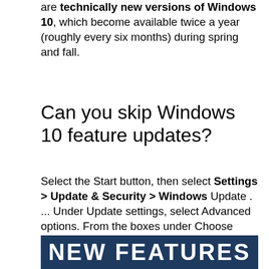are technically new versions of Windows 10, which become available twice a year (roughly every six months) during spring and fall.
Can you skip Windows 10 feature updates?
Select the Start button, then select Settings > Update & Security > Windows Update . ... Under Update settings, select Advanced options. From the boxes under Choose when updates are installed, select the number of days you would like to defer a feature update or a quality update.
[Figure (other): Dark blue banner with white bold text reading 'NEW FEATURES']